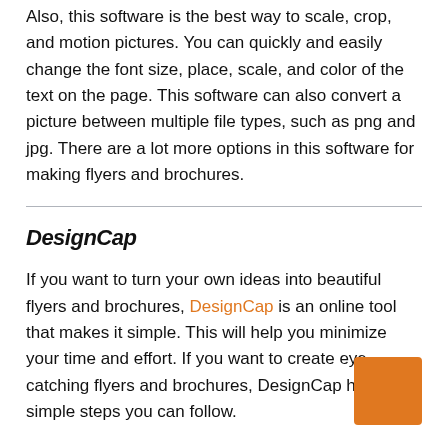Also, this software is the best way to scale, crop, and motion pictures. You can quickly and easily change the font size, place, scale, and color of the text on the page. This software can also convert a picture between multiple file types, such as png and jpg. There are a lot more options in this software for making flyers and brochures.
DesignCap
If you want to turn your own ideas into beautiful flyers and brochures, DesignCap is an online tool that makes it simple. This will help you minimize your time and effort. If you want to create eye-catching flyers and brochures, DesignCap has the simple steps you can follow.